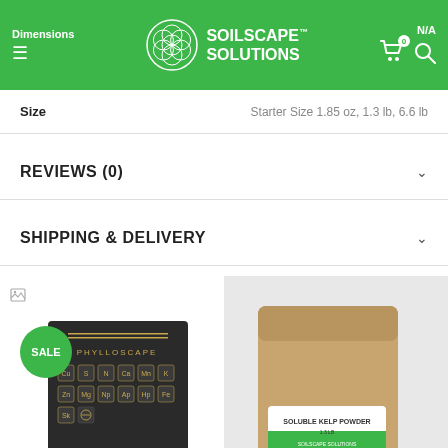Dimensions | SOILSCAPE™ SOLUTIONS | N/A
| Size |  |
| --- | --- |
| Size | Starter Size 1.85 oz, 1.3 lb, 6.6 lb |
REVIEWS (0)
SHIPPING & DELIVERY
[Figure (photo): Dark box product with periodic-table-style element symbols (Cu, S, N, Ca, Mn, K, Zn, Mg, Np, Ap, Hp, Fe, Sk) labeled PHYLLOSCAPE, with SALE badge]
[Figure (photo): Brown kraft paper bag with SOLUBLE KELP POWDER label on grey background]